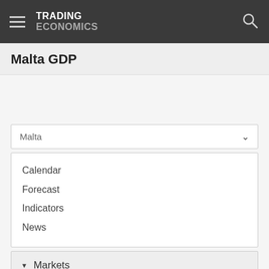TRADING ECONOMICS
Malta GDP
Malta
Calendar
Forecast
Indicators
News
Markets
GDP
GDP
GDP Annual Growth Rate